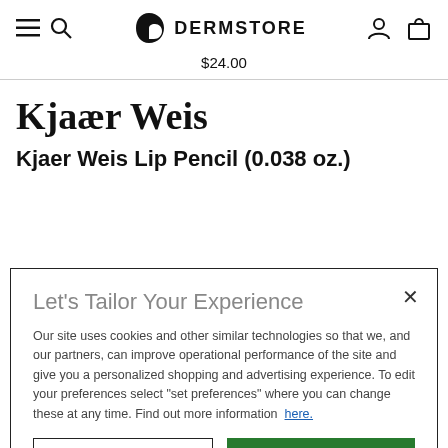Dermstore navigation bar with hamburger menu, search, logo, user account, and bag icons
$24.00
[Figure (logo): Kjaer Weis brand name in large serif bold font]
Kjaer Weis Lip Pencil (0.038 oz.)
Let's Tailor Your Experience
Our site uses cookies and other similar technologies so that we, and our partners, can improve operational performance of the site and give you a personalized shopping and advertising experience. To edit your preferences select "set preferences" where you can change these at any time. Find out more information here.
Set Preference | That's Ok